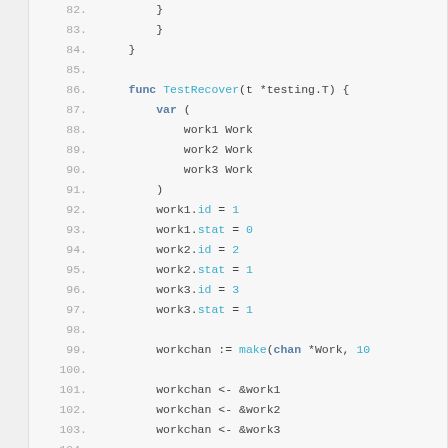Code listing lines 82-104 showing Go source code with TestRecover function